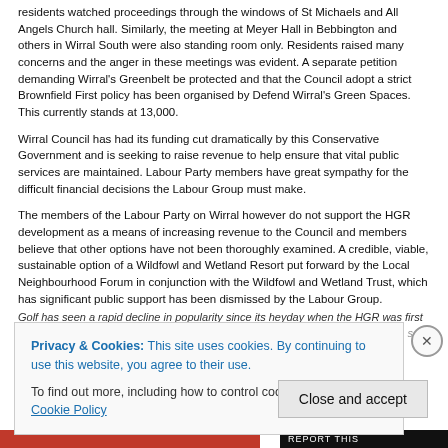residents watched proceedings through the windows of St Michaels and All Angels Church hall. Similarly, the meeting at Meyer Hall in Bebbington and others in Wirral South were also standing room only. Residents raised many concerns and the anger in these meetings was evident. A separate petition demanding Wirral's Greenbelt be protected and that the Council adopt a strict Brownfield First policy has been organised by Defend Wirral's Green Spaces. This currently stands at 13,000.
Wirral Council has had its funding cut dramatically by this Conservative Government and is seeking to raise revenue to help ensure that vital public services are maintained. Labour Party members have great sympathy for the difficult financial decisions the Labour Group must make.
The members of the Labour Party on Wirral however do not support the HGR development as a means of increasing revenue to the Council and members believe that other options have not been thoroughly examined. A credible, viable, sustainable option of a Wildfowl and Wetland Resort put forward by the Local Neighbourhood Forum in conjunction with the Wildfowl and Wetland Trust, which has significant public support has been dismissed by the Labour Group.
Golf has seen a rapid decline in popularity since its heyday when the HGR was first proposed and the club was...
Privacy & Cookies: This site uses cookies. By continuing to use this website, you agree to their use.
To find out more, including how to control cookies, see here: Cookie Policy
Close and accept